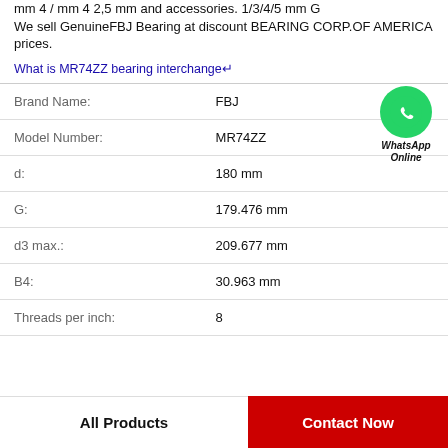mm 4 / mm 4 2,5 mm and accessories. 1/3/4/5 mm G We sell GenuineFBJ Bearing at discount BEARING CORP.OF AMERICA prices.
What is MR74ZZ bearing interchange↵
| Label | Value |
| --- | --- |
| Brand Name: | FBJ |
| Model Number: | MR74ZZ |
| d: | 180 mm |
| G: | 179.476 mm |
| d3 max.: | 209.677 mm |
| B4: | 30.963 mm |
| Threads per inch: | 8 |
[Figure (logo): WhatsApp Online green circle phone icon with label WhatsApp Online]
All Products
Contact Now